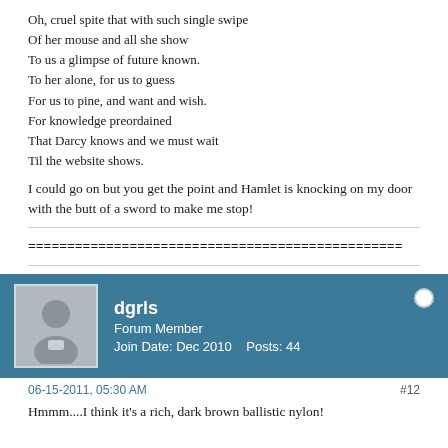Oh, cruel spite that with such single swipe
Of her mouse and all she show
To us a glimpse of future known.
To her alone, for us to guess
For us to pine, and want and wish.
For knowledge preordained
That Darcy knows and we must wait
Til the website shows.
I could go on but you get the point and Hamlet is knocking on my door with the butt of a sword to make me stop!
================================================
dgrls
Forum Member
Join Date: Dec 2010    Posts: 44
06-15-2011, 05:30 AM
#12
Hmmm....I think it's a rich, dark brown ballistic nylon!